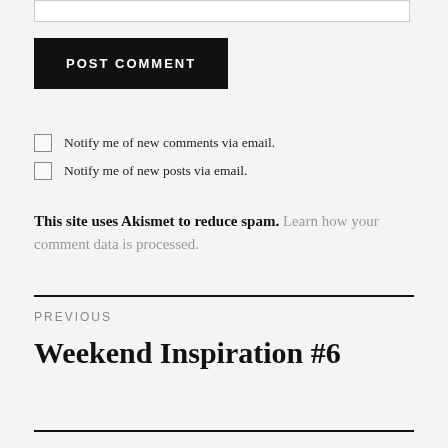[textarea stub]
POST COMMENT
Notify me of new comments via email.
Notify me of new posts via email.
This site uses Akismet to reduce spam. Learn how your comment data is processed.
PREVIOUS
Weekend Inspiration #6